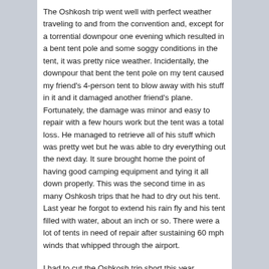The Oshkosh trip went well with perfect weather traveling to and from the convention and, except for a torrential downpour one evening which resulted in a bent tent pole and some soggy conditions in the tent, it was pretty nice weather. Incidentally, the downpour that bent the tent pole on my tent caused my friend's 4-person tent to blow away with his stuff in it and it damaged another friend's plane. Fortunately, the damage was minor and easy to repair with a few hours work but the tent was a total loss. He managed to retrieve all of his stuff which was pretty wet but he was able to dry everything out the next day. It sure brought home the point of having good camping equipment and tying it all down properly. This was the second time in as many Oshkosh trips that he had to dry out his tent. Last year he forgot to extend his rain fly and his tent filled with water, about an inch or so. There were a lot of tents in need of repair after sustaining 60 mph winds that whipped through the airport.
I had to cut the Oshkosh trip short this year because of the Taiwan business trip which came up unexpectedly just